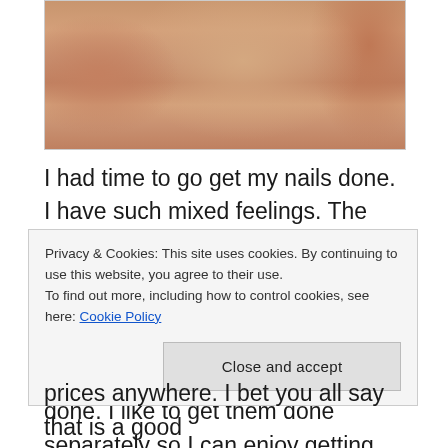[Figure (photo): Close-up photo of an elderly person's hands, showing skin texture and wrinkles, with a warm skin-tone background.]
I had time to go get my nails done. I have such mixed feelings. The cost with tip is over $50 for a dip. It just seems so high but it'll last me close to a month. I feel guilty getting them done sometimes, especially since I also get my toes done. I like to get them done separately so I can enjoy getting them done without them hovering
Privacy & Cookies: This site uses cookies. By continuing to use this website, you agree to their use.
To find out more, including how to control cookies, see here: Cookie Policy
prices anywhere. I bet you all say that is a good